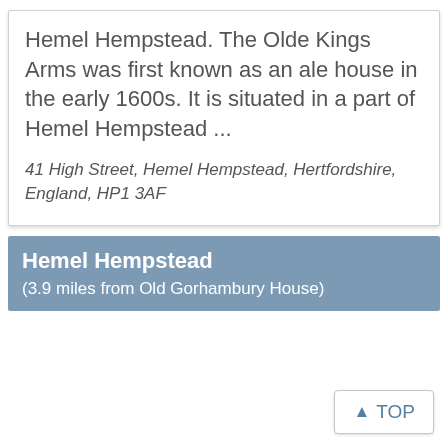Hemel Hempstead. The Olde Kings Arms was first known as an ale house in the early 1600s. It is situated in a part of Hemel Hempstead ...
41 High Street, Hemel Hempstead, Hertfordshire, England, HP1 3AF
Hemel Hempstead
(3.9 miles from Old Gorhambury House)